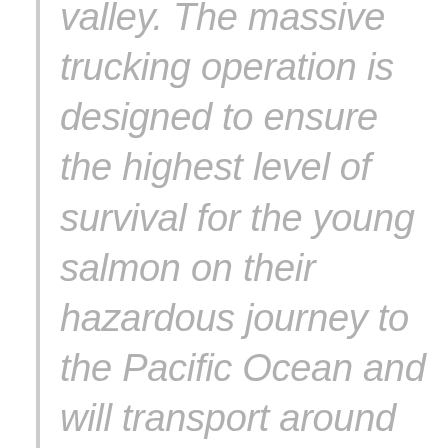valley. The massive trucking operation is designed to ensure the highest level of survival for the young salmon on their hazardous journey to the Pacific Ocean and will transport around 20 percent more salmon around the Central Valley rivers and Delta than in typical water years.